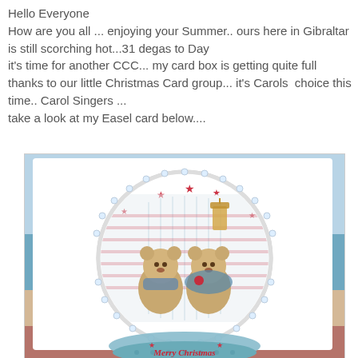Hello Everyone
How are you all ... enjoying your Summer.. ours here in Gibraltar is still scorching hot...31 degas to Day
it's time for another CCC... my card box is getting quite full thanks to our little Christmas Card group... it's Carols  choice this time.. Carol Singers ...
take a look at my Easel card below....
[Figure (photo): A circular handmade Christmas easel card featuring two teddy bears (carol singers) holding a lantern, decorated with red stars and festive patterns, set against a seaside/beach background. Below the circular card is a teal/blue circular base with 'Merry Christmas' text in red cursive.]